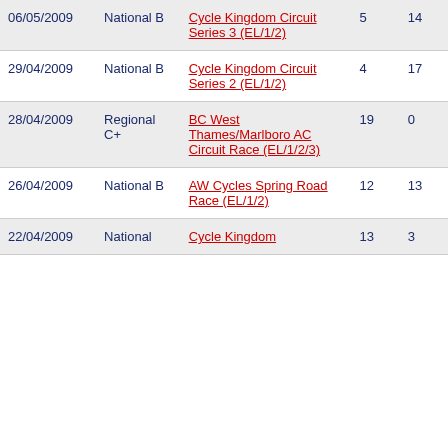| Date | Category | Race | Col5 | Col6 |
| --- | --- | --- | --- | --- |
| 06/05/2009 | National B | Cycle Kingdom Circuit Series 3 (EL/1/2) | 5 | 14 |
| 29/04/2009 | National B | Cycle Kingdom Circuit Series 2 (EL/1/2) | 4 | 17 |
| 28/04/2009 | Regional C+ | BC West Thames/Marlboro AC Circuit Race (EL/1/2/3) | 19 | 0 |
| 26/04/2009 | National B | AW Cycles Spring Road Race (EL/1/2) | 12 | 13 |
| 22/04/2009 | National | Cycle Kingdom | 13 | 3 |